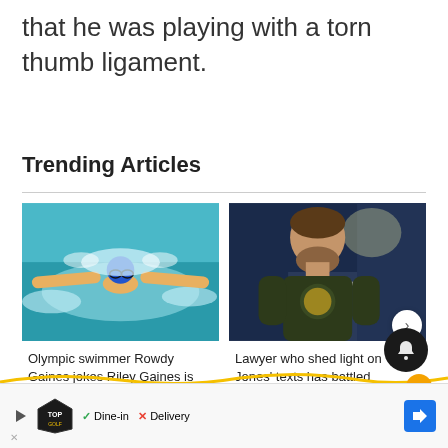that he was playing with a torn thumb ligament.
Trending Articles
[Figure (photo): Olympic swimmer doing butterfly stroke in pool with blue swim cap and goggles]
Olympic swimmer Rowdy Gaines jokes Riley Gaines is his ...
[Figure (photo): Man with beard standing outdoors at night near a road, wearing dark t-shirt with logo]
Lawyer who shed light on Jones' texts has battled
[Figure (logo): TopGolf advertisement banner with Dine-in checkmark and Delivery X, with navigation arrow]